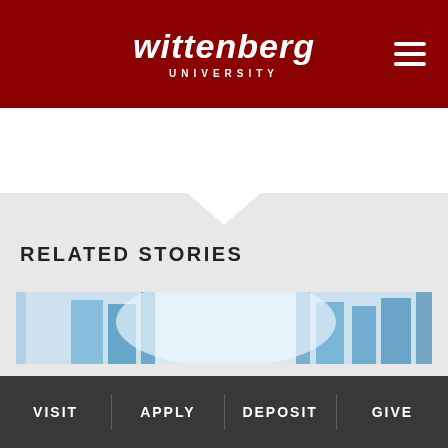Wittenberg University
RELATED STORIES
[Figure (photo): Blue glass architectural interior photo showing vertical glass panels and natural light]
VISIT | APPLY | DEPOSIT | GIVE